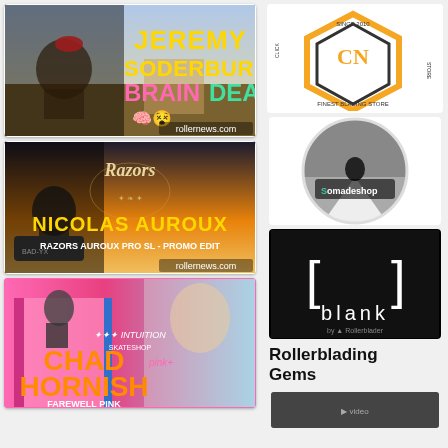[Figure (screenshot): Video thumbnail: Jeremy Soderburg Braindead - skater in field, rollernews.com]
[Figure (screenshot): Video thumbnail: Nicolas Auroux - Razors Auroux Pro SL Promo Edit, rollernews.com]
[Figure (screenshot): Video thumbnail: Chad Hornish Farewell Pink - Intuition Skateshop]
[Figure (logo): Clicnrolla orange hexagon logo - Finest Blading Store Since 2010]
[Figure (logo): Somadeshop circular logo with skater photo]
[Figure (logo): Blank by Rollerblader - black square logo with bracket symbol]
Rollerblading Gems
[Figure (screenshot): Partial thumbnail at bottom right]